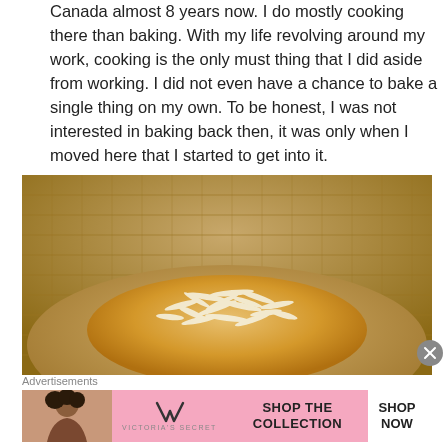Canada almost 8 years now. I do mostly cooking there than baking. With my life revolving around my work, cooking is the only must thing that I did aside from working. I did not even have a chance to bake a single thing on my own. To be honest, I was not interested in baking back then, it was only when I moved here that I started to get into it.
[Figure (photo): Close-up photo of a baked good (possibly a coconut-topped cake or pastry) placed on a woven straw/rattan plate or mat, viewed from above at an angle.]
Advertisements
[Figure (screenshot): Victoria's Secret advertisement banner with a model photo on the left, VS logo in center, text 'SHOP THE COLLECTION', and a white 'SHOP NOW' button on the right, on a pink background.]